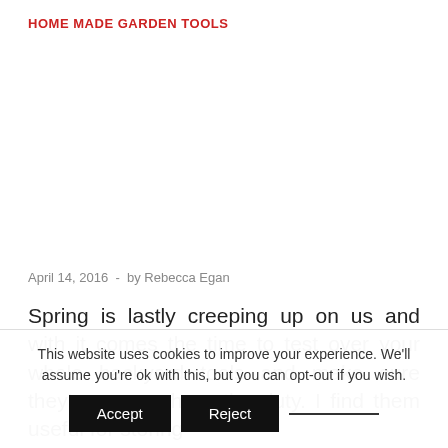HOME MADE GARDEN TOOLS
April 14, 2016  -  by Rebecca Egan
Spring is lastly creeping up on us and with it comes the time to test over your whole backyard tools and make sure they're as much as the duty. I find them useful for storing
This website uses cookies to improve your experience. We'll assume you're ok with this, but you can opt-out if you wish.